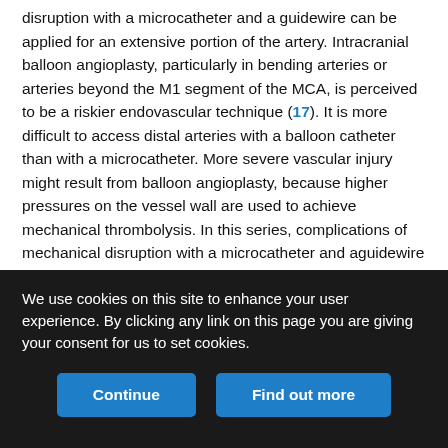disruption with a microcatheter and a guidewire can be applied for an extensive portion of the artery. Intracranial balloon angioplasty, particularly in bending arteries or arteries beyond the M1 segment of the MCA, is perceived to be a riskier endovascular technique (17). It is more difficult to access distal arteries with a balloon catheter than with a microcatheter. More severe vascular injury might result from balloon angioplasty, because higher pressures on the vessel wall are used to achieve mechanical thrombolysis. In this series, complications of mechanical disruption with a microcatheter and aguidewire were caused by perforation of the vessel wall. Intracranial balloon angioplasty can lead to arterial dissection or catastrophic vascular rupture. Balloon angioplasty of the distal ICA and proximal M1 segment can occlude the anterior choroidal artery origin or
We use cookies on this site to enhance your user experience. By clicking any link on this page you are giving your consent for us to set cookies.